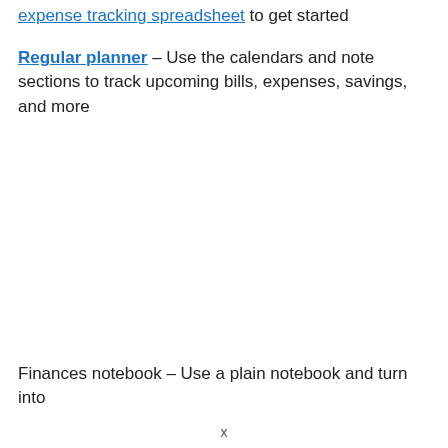expense tracking spreadsheet to get started
Regular planner – Use the calendars and note sections to track upcoming bills, expenses, savings, and more
Finances notebook – Use a plain notebook and turn into